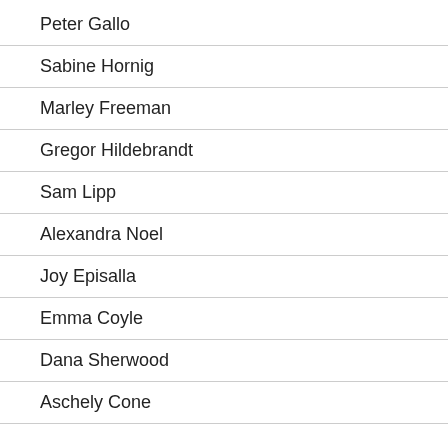Peter Gallo
Sabine Hornig
Marley Freeman
Gregor Hildebrandt
Sam Lipp
Alexandra Noel
Joy Episalla
Emma Coyle
Dana Sherwood
Aschely Cone